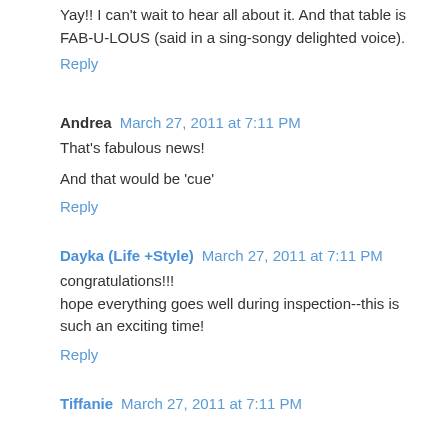Yay!! I can't wait to hear all about it. And that table is FAB-U-LOUS (said in a sing-songy delighted voice).
Reply
Andrea  March 27, 2011 at 7:11 PM
That's fabulous news!
And that would be 'cue'
Reply
Dayka (Life +Style)  March 27, 2011 at 7:11 PM
congratulations!!!
hope everything goes well during inspection--this is such an exciting time!
Reply
Tiffanie  March 27, 2011 at 7:11 PM